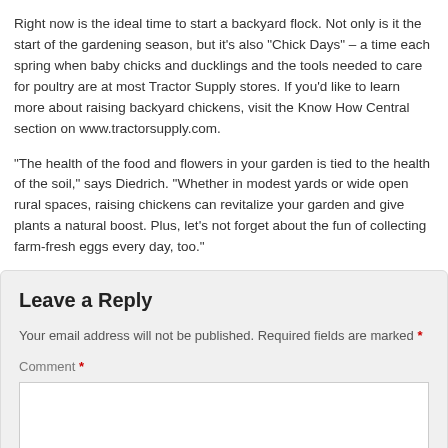Right now is the ideal time to start a backyard flock. Not only is it the start of the gardening season, but it's also "Chick Days" – a time each spring when baby chicks and ducklings and the tools needed to care for poultry are at most Tractor Supply stores. If you'd like to learn more about raising backyard chickens, visit the Know How Central section on www.tractorsupply.com.
"The health of the food and flowers in your garden is tied to the health of the soil," says Diedrich. "Whether in modest yards or wide open rural spaces, raising chickens can revitalize your garden and give plants a natural boost. Plus, let's not forget about the fun of collecting farm-fresh eggs every day, too."
Leave a Reply
Your email address will not be published. Required fields are marked *
Comment *